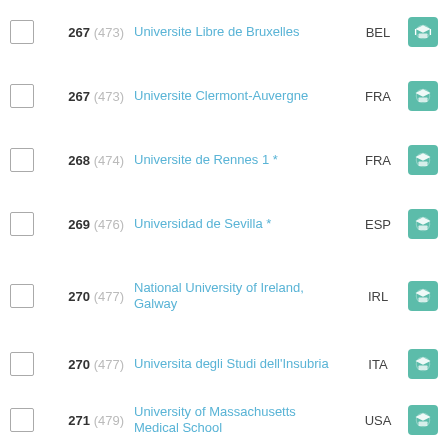267 (473) Universite Libre de Bruxelles BEL
267 (473) Universite Clermont-Auvergne FRA
268 (474) Universite de Rennes 1 * FRA
269 (476) Universidad de Sevilla * ESP
270 (477) National University of Ireland, Galway IRL
270 (477) Universita degli Studi dell'Insubria ITA
271 (479) University of Massachusetts Medical School USA